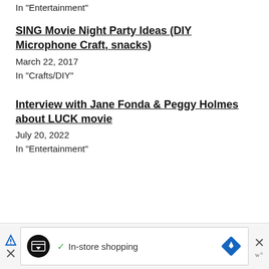In "Entertainment"
SING Movie Night Party Ideas (DIY Microphone Craft, snacks)
March 22, 2017
In "Crafts/DIY"
Interview with Jane Fonda & Peggy Holmes about LUCK movie
July 20, 2022
In "Entertainment"
[Figure (other): Advertisement banner with shopping icon and close button showing In-store shopping ad]